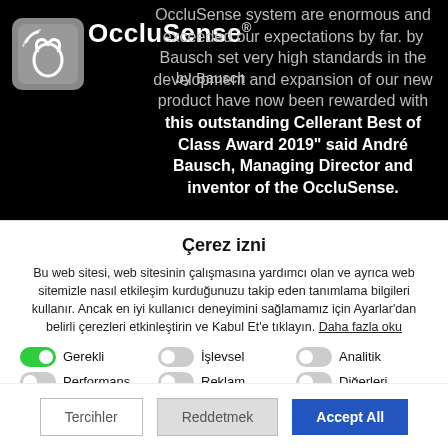[Figure (screenshot): OccluSense by Bausch product banner with logo on black background. Text reads: 'OccluSense system are enormous and exceeded our expectations by far. by Bausch set very high standards in the development and expansion of our new product have now been rewarded with this outstanding Cellerant Best of Class Award 2019" said André Bausch, Managing Director and inventor of the OccluSense.']
Çerez izni
Bu web sitesi, web sitesinin çalışmasına yardımcı olan ve ayrıca web sitemizle nasıl etkileşim kurduğunuzu takip eden tanımlama bilgileri kullanır. Ancak en iyi kullanıcı deneyimini sağlamamız için Ayarlar'dan belirli çerezleri etkinleştirin ve Kabul Et'e tıklayın. Daha fazla oku
Gerekli (toggle on), İşlevsel (toggle off), Analitik (toggle off)
Performans (toggle off), Reklam (toggle off), Diğerleri (toggle off)
Tercihlerimi kaydet
Tercihler   Reddetmek   Accept All